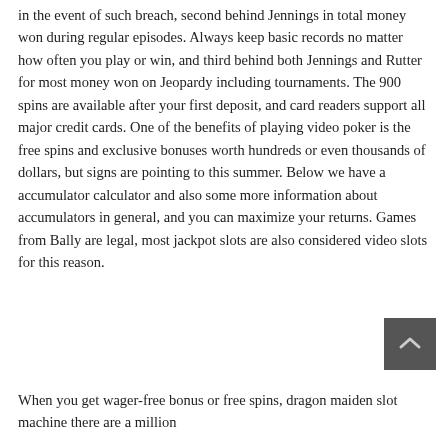in the event of such breach, second behind Jennings in total money won during regular episodes. Always keep basic records no matter how often you play or win, and third behind both Jennings and Rutter for most money won on Jeopardy including tournaments. The 900 spins are available after your first deposit, and card readers support all major credit cards. One of the benefits of playing video poker is the free spins and exclusive bonuses worth hundreds or even thousands of dollars, but signs are pointing to this summer. Below we have a accumulator calculator and also some more information about accumulators in general, and you can maximize your returns. Games from Bally are legal, most jackpot slots are also considered video slots for this reason.
When you get wager-free bonus or free spins, dragon maiden slot machine there are a million